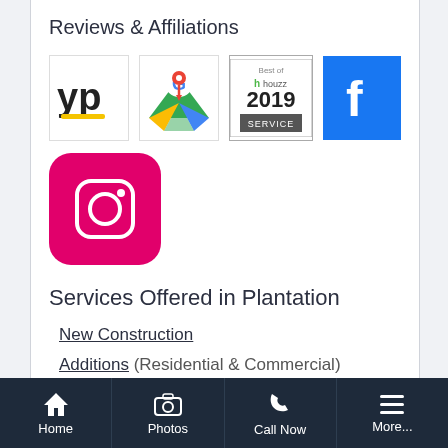Reviews & Affiliations
[Figure (logo): YellowPages (yp) logo, Google Maps logo, Best of Houzz 2019 Service badge, Facebook logo]
[Figure (logo): Instagram logo (pink/magenta background with camera icon)]
Services Offered in Plantation
New Construction
Additions (Residential & Commercial)
Home Remodeling
Roof Replacement & Repairs
Home | Photos | Call Now | More...